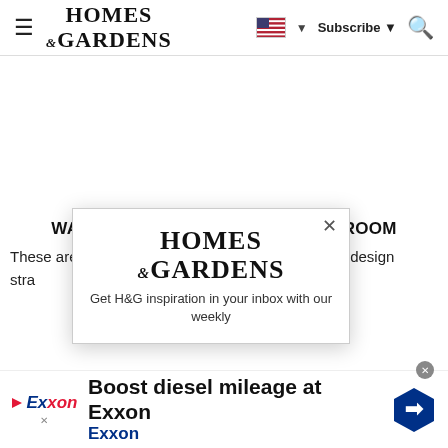HOMES & GARDENS — navigation bar with hamburger menu, logo, flag/language selector, Subscribe button, and search icon
[Figure (screenshot): Large white advertisement placeholder area]
WALLPAPER IDEAS – FOR EVERY ROOM
These are our favorite wallpaper ideas with the top design strategies and the most inspiring wallpaper inspiration
[Figure (screenshot): Homes & Gardens newsletter popup overlay with close button and text: Get H&G inspiration in your inbox with our weekly]
[Figure (screenshot): Exxon advertisement banner: Boost diesel mileage at Exxon, Exxon logo and blue direction sign icon]